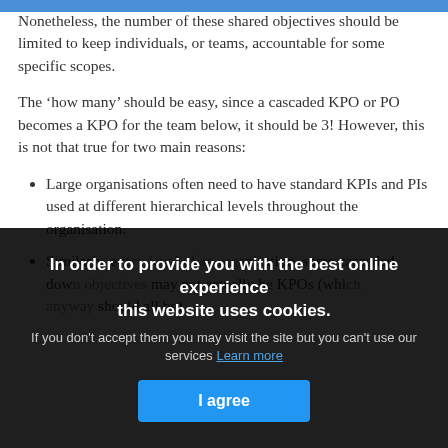Nonetheless, the number of these shared objectives should be limited to keep individuals, or teams, accountable for some specific scopes.
The 'how many' should be easy, since a cascaded KPO or PO becomes a KPO for the team below, it should be 3! However, this is not that true for two main reasons:
Large organisations often need to have standard KPIs and PIs used at different hierarchical levels throughout the organisation.
Similarly, every level of an organisation, some cascaded down objectives may not actually be KPOs (which anyway should all be)
In order to provide you with the best online experience this website uses cookies. If you don't accept them you may visit the site but you can't use our services. Learn more